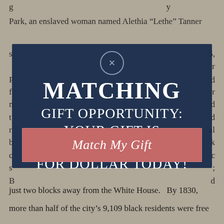g … y
Park, an enslaved woman named Alethia “Lethe” Tanner
[Figure (infographic): Dark blue overlay popup with close button (X in circle), heading 'MATCHING GIFT OPPORTUNITY: YOUR GIFT IS MATCHED DOLLAR FOR DOLLAR TODAY!' in white serif uppercase text, and a salmon/pink 'Match My Gift' button, overlaid on a background image of a white building (White House area) at dusk.]
just two blocks away from the White House.   By 1830,
more than half of the city’s 9,109 black residents were free